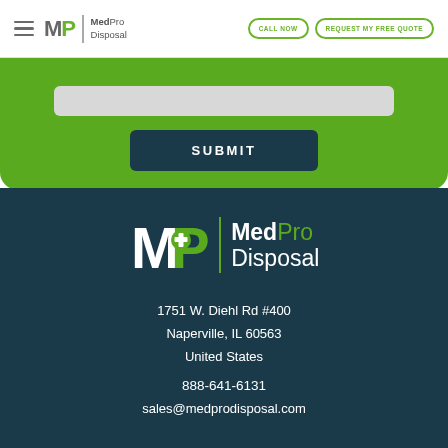MedPro Disposal | CALL NOW | REQUEST MY FREE QUOTE
[Figure (screenshot): Green form area with a light gray input field and a dark teal SUBMIT button]
[Figure (logo): MedPro Disposal logo: MP icon with plus sign, vertical green divider, MedPro Disposal text in white and green]
1751 W. Diehl Rd #400
Naperville, IL 60563
United States
888-641-6131
sales@medprodisposal.com